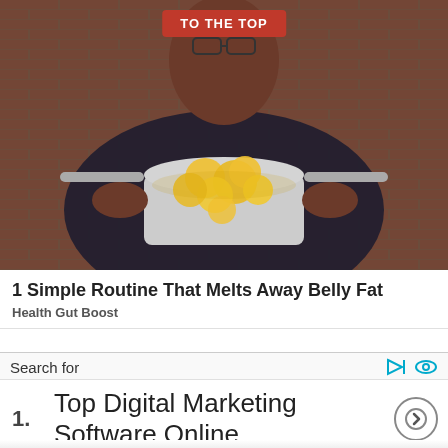[Figure (photo): Man in dark patterned shirt holding a silver pot filled with lemon slices in liquid, standing in a kitchen. A red button overlay reads 'TO THE TOP'.]
1 Simple Routine That Melts Away Belly Fat
Health Gut Boost
Search for
1. Top Digital Marketing Software Online